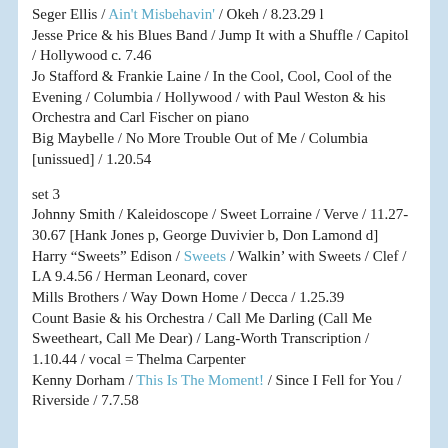Seger Ellis / Ain't Misbehavin' / Okeh / 8.23.29 l
Jesse Price & his Blues Band / Jump It with a Shuffle / Capitol / Hollywood c. 7.46
Jo Stafford & Frankie Laine / In the Cool, Cool, Cool of the Evening / Columbia / Hollywood / with Paul Weston & his Orchestra and Carl Fischer on piano
Big Maybelle / No More Trouble Out of Me / Columbia [unissued] / 1.20.54
set 3
Johnny Smith / Kaleidoscope / Sweet Lorraine / Verve / 11.27-30.67 [Hank Jones p, George Duvivier b, Don Lamond d]
Harry “Sweets” Edison / Sweets / Walkin’ with Sweets / Clef / LA 9.4.56 / Herman Leonard, cover
Mills Brothers / Way Down Home / Decca / 1.25.39
Count Basie & his Orchestra / Call Me Darling (Call Me Sweetheart, Call Me Dear) / Lang-Worth Transcription / 1.10.44 / vocal = Thelma Carpenter
Kenny Dorham / This Is The Moment! / Since I Fell for You / Riverside / 7.7.58